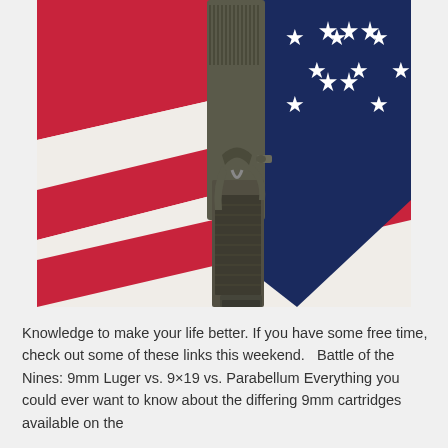[Figure (photo): Close-up photograph of a semi-automatic pistol (1911-style) placed on top of an American flag showing red, white, and blue stripes and white stars.]
Knowledge to make your life better. If you have some free time, check out some of these links this weekend.   Battle of the Nines: 9mm Luger vs. 9×19 vs. Parabellum Everything you could ever want to know about the differing 9mm cartridges available on the